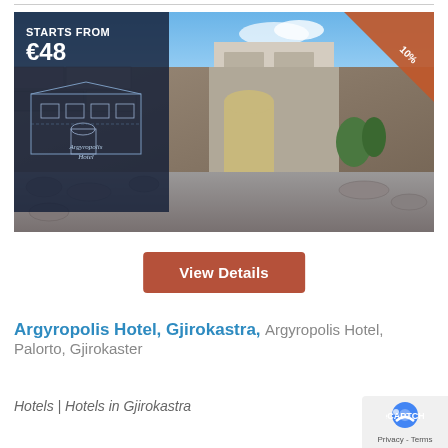[Figure (photo): Hotel photo showing Argyropolis Hotel exterior with stone walls, wooden door, cobblestone path, and a sign reading 'Argyropolis Hotel'. Overlay shows price starting from €48 with blueprint graphic. Orange triangle discount badge showing 10% in top right corner.]
View Details
Argyropolis Hotel, Gjirokastra, Argyropolis Hotel, Palorto, Gjirokaster
Hotels | Hotels in Gjirokastra